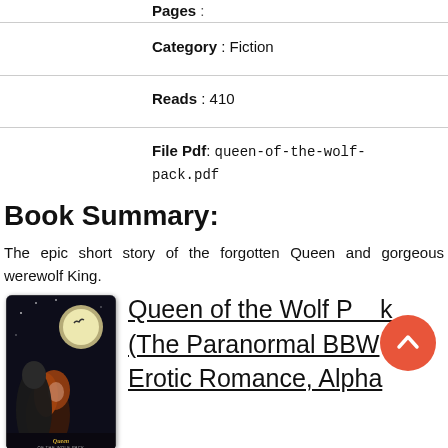Pages :
Category : Fiction
Reads : 410
File Pdf: queen-of-the-wolf-pack.pdf
Book Summary:
The epic short story of the forgotten Queen and gorgeous werewolf King.
[Figure (photo): Book cover of Queen of the Wolf Pack showing a dark romantic paranormal scene with a couple and a moon]
Queen of the Wolf Pack (The Paranormal BBW Erotic Romance, Alpha